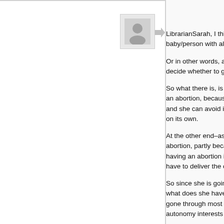[Figure (photo): Gray placeholder avatar image in a square border]
Daleth
LibrarianSarah, I think you may be seeing baby/person with all the attendant rights.
Or in other words, a woman's right to an decide whether to go through the rigors.
So what there is, is a continuum. At one an abortion, because the overwhelming and she can avoid it by having an abort on its own.
At the other end–as you get later and la abortion, partly because more and more having an abortion is practically the sam have to deliver the child, alive or dead.
So since she is going to have to effectively what does she have to gain by having a gone through most of pregnancy, and ha autonomy interests left to protect.